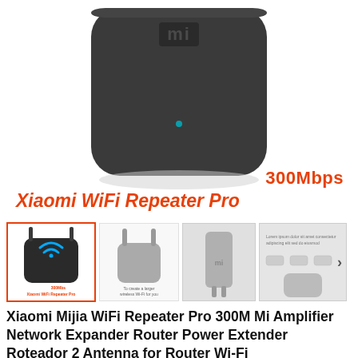[Figure (photo): Xiaomi Mi WiFi Repeater Pro device - dark gray/black rounded square device with MI logo on top and small LED indicator, shown from above at an angle against white background]
300Mbps
Xiaomi WiFi Repeater Pro
[Figure (photo): Row of product thumbnail images showing different views of Xiaomi WiFi Repeater Pro: front view with WiFi icon, back view with antennas, side view plugged in, and a specs/features image with navigation arrow]
Xiaomi Mijia WiFi Repeater Pro 300M Mi Amplifier Network Expander Router Power Extender Roteador 2 Antenna for Router Wi-Fi